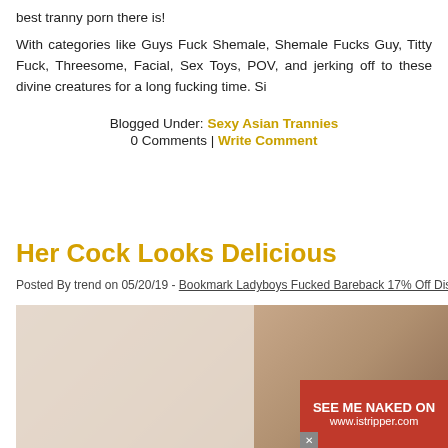best tranny porn there is!
With categories like Guys Fuck Shemale, Shemale Fucks Guy, Titty Fuck, Threesome, Facial, Sex Toys, POV, and jerking off to these divine creatures for a long fucking time. Si
Blogged Under: Sexy Asian Trannies
0 Comments | Write Comment
Her Cock Looks Delicious
Posted By trend on 05/20/19 - Bookmark Ladyboys Fucked Bareback 17% Off Dis
[Figure (photo): A close-up photo with an advertisement overlay showing a blonde woman in pink lingerie with text 'SEE ME NAKED ON www.istripper.com']